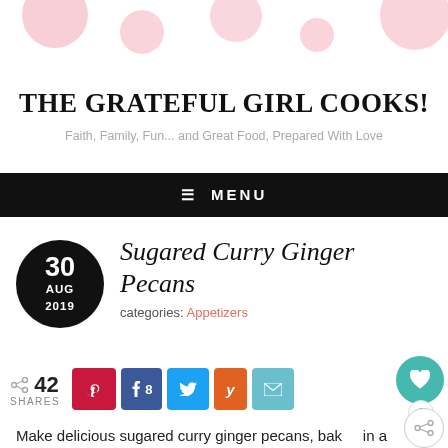[Figure (illustration): Decorative pink polka dot header with circles of varying sizes]
THE GRATEFUL GIRL COOKS!
Faith, Family, Fun... and Great Food, Prepared With Love
≡ MENU
Sugared Curry Ginger Pecans
categories: Appetizers
42 SHARES
Make delicious sugared curry ginger pecans, baked in a buttery glaze, in only 20 minutes! This appetizer